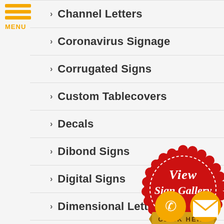[Figure (logo): Hamburger menu icon with three gold bars and MENU label]
Channel Letters
Coronavirus Signage
Corrugated Signs
Custom Tablecovers
Decals
Dibond Signs
Digital Signs
Dimensional Letters
[Figure (illustration): Red seal badge with white dashed border, text 'View Sign Gallery' in white script, gold ribbon banner at bottom with 'CLICK HERE' text]
[Figure (illustration): Gold circle phone icon button and gold circle email/envelope icon button]